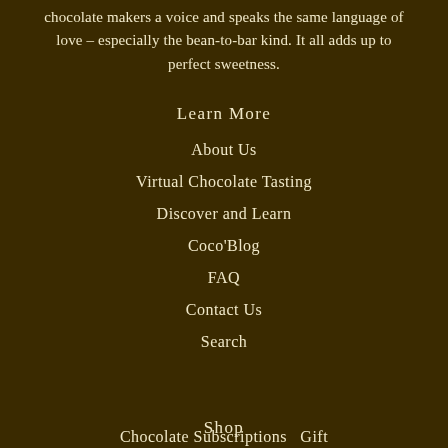chocolate makers a voice and speaks the same language of love – especially the bean-to-bar kind. It all adds up to perfect sweetness.
Learn More
About Us
Virtual Chocolate Tasting
Discover and Learn
Coco'Blog
FAQ
Contact Us
Search
Shop
Chocolate Subscriptions   Gift